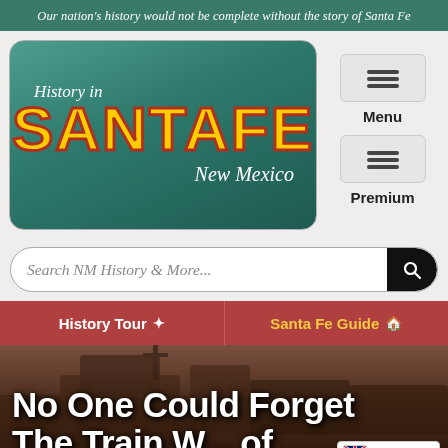Our nation's history would not be complete without the story of Santa Fe
[Figure (logo): History in Santa Fe New Mexico logo with stylized retro lettering on teal background]
Menu
Premium
Search NM History & More...
History Tour
Santa Fe Guide
No One Could Forget The Train W... of
English